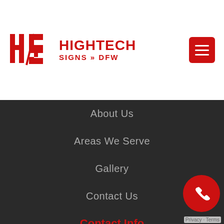[Figure (logo): HighTech Signs DFW logo with red HS monogram and red text]
About Us
Areas We Serve
Gallery
Contact Us
Contact Info
Headquarters
1878 W Mockingbird Ln Dallas, TX
Phone
[Figure (illustration): Red circle phone call button widget with white phone icon, and Privacy - Terms label below]